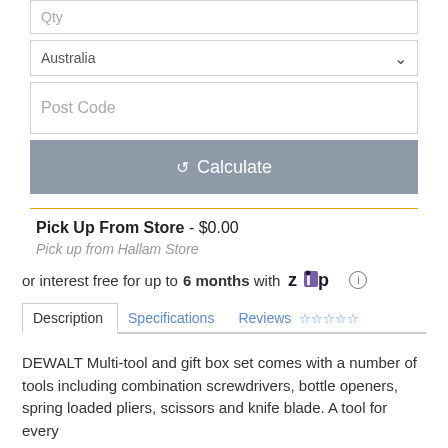[Figure (screenshot): Form fields: Qty input, Australia dropdown, Post Code input, Calculate button]
Pick Up From Store - $0.00
Pick up from Hallam Store
or interest free for up to 6 months with Zip
Description  Specifications  Reviews ☆☆☆☆☆
DEWALT Multi-tool and gift box set comes with a number of tools including combination screwdrivers, bottle openers, spring loaded pliers, scissors and knife blade. A tool for every...